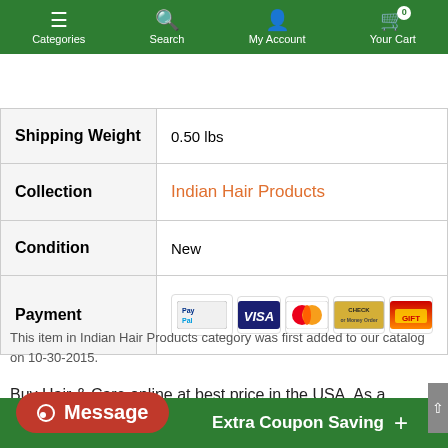Categories | Search | My Account | Your Cart (0)
|  |  |
| --- | --- |
| Shipping Weight | 0.50 lbs |
| Collection | Indian Hair Products |
| Condition | New |
| Payment | [PayPal, Visa, Mastercard, Check, Gift Card icons] |
This item in Indian Hair Products category was first added to our catalog on 10-30-2015.
Buy Hair & Care online at best price in the USA. As a leading online Indian store, we offer great deals on Indian Hair Products (Hair & Care) like Wine Red ... Hair Color - 100gm with very low
This Natural Ha... as
Extra Coupon Saving
Message